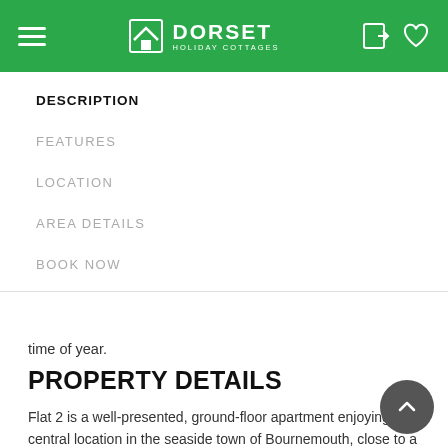Dorset Holiday Cottages
DESCRIPTION
FEATURES
LOCATION
AREA DETAILS
BOOK NOW
time of year.
PROPERTY DETAILS
Flat 2 is a well-presented, ground-floor apartment enjoying a central location in the seaside town of Bournemouth, close to a range of amenities. Superbly equipped throughout, couples can look forward to exploring the attractions of Bournemouth from